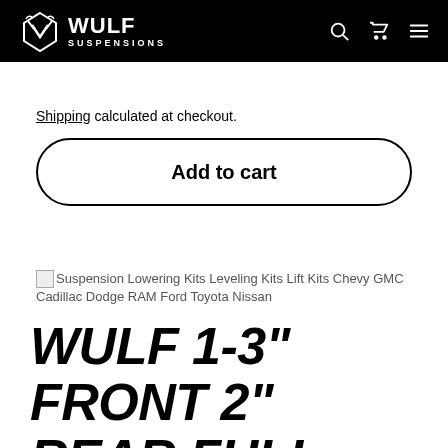WULF SUSPENSIONS
Shipping calculated at checkout.
Add to cart
[Figure (photo): Broken image placeholder with alt text: Suspension Lowering Kits Leveling Kits Lift Kits Chevy GMC Cadillac Dodge RAM Ford Toyota Nissan]
WULF 1-3" FRONT 2" REAR FULL LEVELING LIFT KIT